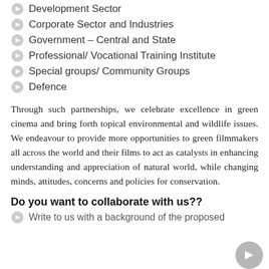Development Sector
Corporate Sector and Industries
Government – Central and State
Professional/ Vocational Training Institute
Special groups/ Community Groups
Defence
Through such partnerships, we celebrate excellence in green cinema and bring forth topical environmental and wildlife issues. We endeavour to provide more opportunities to green filmmakers all across the world and their films to act as catalysts in enhancing understanding and appreciation of natural world, while changing minds, attitudes, concerns and policies for conservation.
Do you want to collaborate with us??
Write to us with a background of the proposed